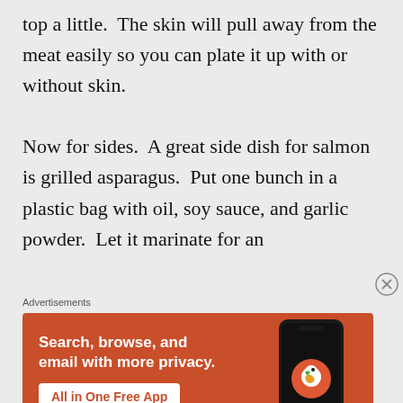top a little.  The skin will pull away from the meat easily so you can plate it up with or without skin.

Now for sides.  A great side dish for salmon is grilled asparagus.  Put one bunch in a plastic bag with oil, soy sauce, and garlic powder.  Let it marinate for an
Advertisements
[Figure (other): DuckDuckGo advertisement banner on orange/red background. Left side shows bold white text: 'Search, browse, and email with more privacy.' with a white button 'All in One Free App'. Right side shows a dark smartphone with DuckDuckGo logo and 'DuckDuckGo.' text.]